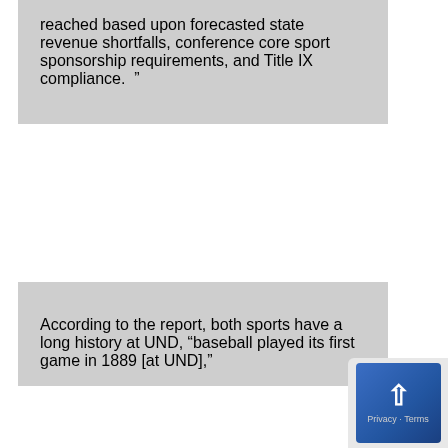reached based upon forecasted state revenue shortfalls, conference core sport sponsorship requirements, and Title IX compliance. ”
According to the report, both sports have a long history at UND, “baseball played its first game in 1889 [at UND],”